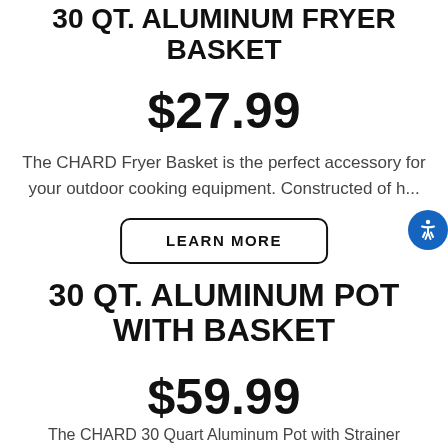30 QT. ALUMINUM FRYER BASKET
$27.99
The CHARD Fryer Basket is the perfect accessory for your outdoor cooking equipment. Constructed of h...
LEARN MORE
30 QT. ALUMINUM POT WITH BASKET
$59.99
The CHARD 30 Quart Aluminum Pot with Strainer